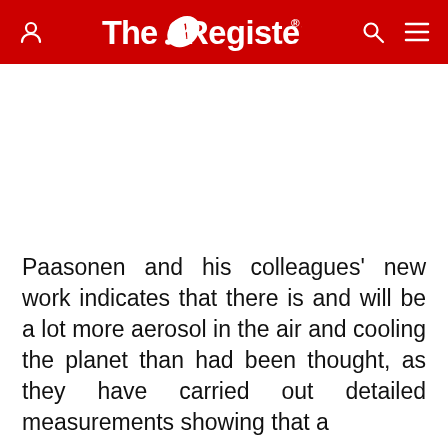The Register
Paasonen and his colleagues' new work indicates that there is and will be a lot more aerosol in the air and cooling the planet than had been thought, as they have carried out detailed measurements showing that a